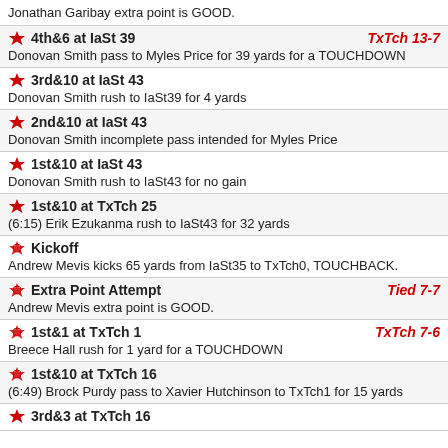Jonathan Garibay extra point is GOOD.
4th&6 at IaSt 39 | TxTch 13-7 | Donovan Smith pass to Myles Price for 39 yards for a TOUCHDOWN
3rd&10 at IaSt 43 | Donovan Smith rush to IaSt39 for 4 yards
2nd&10 at IaSt 43 | Donovan Smith incomplete pass intended for Myles Price
1st&10 at IaSt 43 | Donovan Smith rush to IaSt43 for no gain
1st&10 at TxTch 25 | (6:15) Erik Ezukanma rush to IaSt43 for 32 yards
Kickoff | Andrew Mevis kicks 65 yards from IaSt35 to TxTch0, TOUCHBACK.
Extra Point Attempt | Tied 7-7 | Andrew Mevis extra point is GOOD.
1st&1 at TxTch 1 | TxTch 7-6 | Breece Hall rush for 1 yard for a TOUCHDOWN
1st&10 at TxTch 16 | (6:49) Brock Purdy pass to Xavier Hutchinson to TxTch1 for 15 yards
3rd&3 at TxTch 16